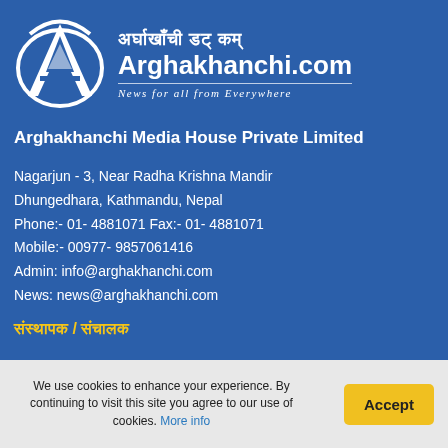[Figure (logo): Arghakhanchi.com logo with circular emblem containing letter A and tree design, white on blue background, with Devanagari text and tagline 'News for all from Everywhere']
Arghakhanchi Media House Private Limited
Nagarjun - 3, Near Radha Krishna Mandir
Dhungedhara, Kathmandu, Nepal
Phone:- 01- 4881071 Fax:- 01- 4881071
Mobile:- 00977- 9857061416
Admin: info@arghakhanchi.com
News: news@arghakhanchi.com
संस्थापक / संचालक
We use cookies to enhance your experience. By continuing to visit this site you agree to our use of cookies. More info